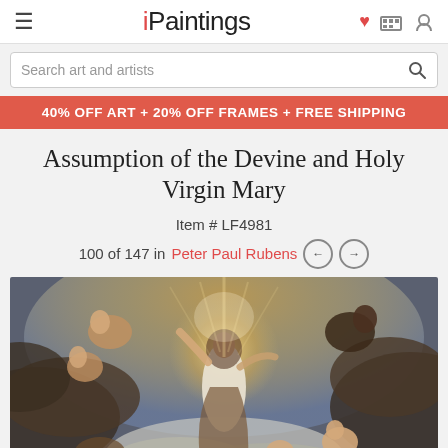iPaintings
Search art and artists
40% OFF ART + 20% OFF FRAMES + FREE SHIPPING
Assumption of the Devine and Holy Virgin Mary
Item # LF4981
100 of 147 in Peter Paul Rubens
[Figure (photo): Baroque painting by Peter Paul Rubens depicting the Assumption of the Virgin Mary, showing the Virgin ascending to heaven surrounded by angels and cherubs against a golden and blue cloudy background.]